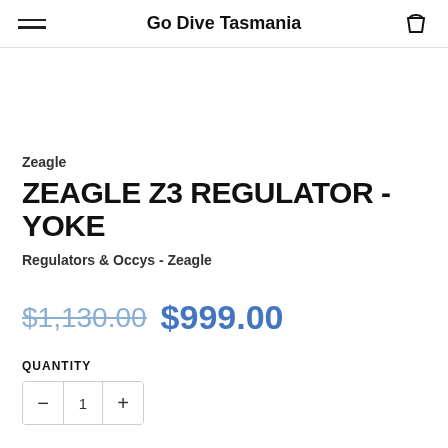Go Dive Tasmania
Zeagle
ZEAGLE Z3 REGULATOR - YOKE
Regulators & Occys - Zeagle
$1,130.00  $999.00
QUANTITY
1